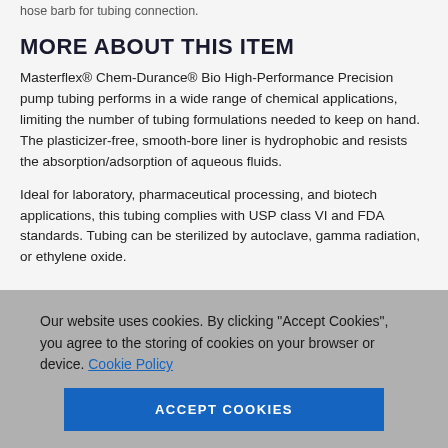hose barb for tubing connection.
MORE ABOUT THIS ITEM
Masterflex® Chem-Durance® Bio High-Performance Precision pump tubing performs in a wide range of chemical applications, limiting the number of tubing formulations needed to keep on hand. The plasticizer-free, smooth-bore liner is hydrophobic and resists the absorption/adsorption of aqueous fluids.
Ideal for laboratory, pharmaceutical processing, and biotech applications, this tubing complies with USP class VI and FDA standards. Tubing can be sterilized by autoclave, gamma radiation, or ethylene oxide.
Our website uses cookies. By clicking "Accept Cookies", you agree to the storing of cookies on your browser or device. Cookie Policy
ACCEPT COOKIES